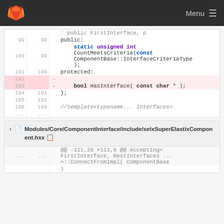Menu
[Figure (screenshot): Code diff view showing lines 99-106 of a C++ header file with line numbers, including deleted lines 102-103 highlighted in red/pink background. Content includes public:, static unsigned int CountMeetsCriteria(const ComponentBase::InterfaceCriteriaType);, protected:, deleted lines (blank and bool HasInterface( const char * );), };, blank line, and //template<typename... Interfaces>]
Modules/Core/ComponentInterface/include/selxSuperElastixComponent.hxx
[Figure (screenshot): Bottom code diff block showing @@ -111,20 +111,6 @@ Accepting<FirstInterface, RestInterfaces ...>::ConnectFromImpl( ComponentBase followed by truncated line]